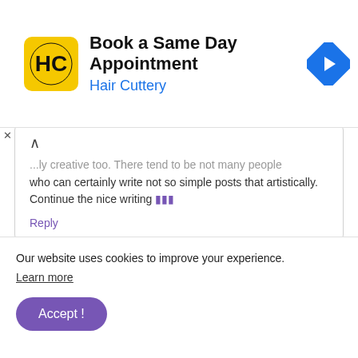[Figure (screenshot): Hair Cuttery advertisement banner with logo, title 'Book a Same Day Appointment', subtitle 'Hair Cuttery', and a blue navigation arrow icon on the right.]
...ly creative too. There tend to be not many people who can certainly write not so simple posts that artistically. Continue the nice writing 🔵🔵🔵
Reply
bombay
August 22, 2021 at 7:42 PM
Hi there! Nice post! Please tell us when I will see a
Our website uses cookies to improve your experience. Learn more
Accept !